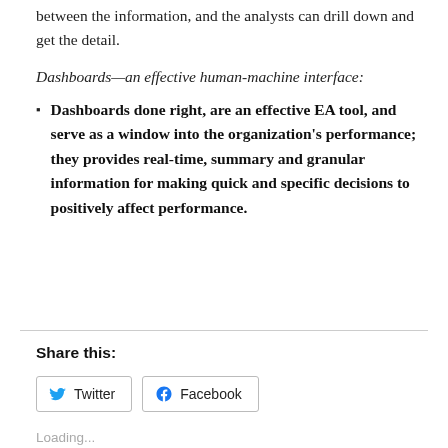between the information, and the analysts can drill down and get the detail.
Dashboards—an effective human-machine interface:
Dashboards done right, are an effective EA tool, and serve as a window into the organization's performance; they provides real-time, summary and granular information for making quick and specific decisions to positively affect performance.
Share this:
Twitter
Facebook
Loading...